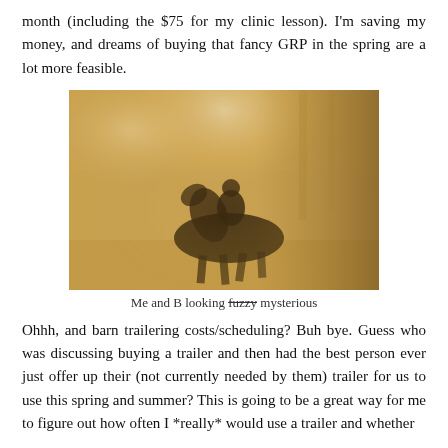month (including the $75 for my clinic lesson). I'm saving my money, and dreams of buying that fancy GRP in the spring are a lot more feasible.
[Figure (photo): Blurry/dark photo of a person riding a dark horse in an indoor arena with golden/hazy lighting]
Me and B looking fuzzy mysterious
Ohhh, and barn trailering costs/scheduling? Buh bye. Guess who was discussing buying a trailer and then had the best person ever just offer up their (not currently needed by them) trailer for us to use this spring and summer? This is going to be a great way for me to figure out how often I *really* would use a trailer and whether